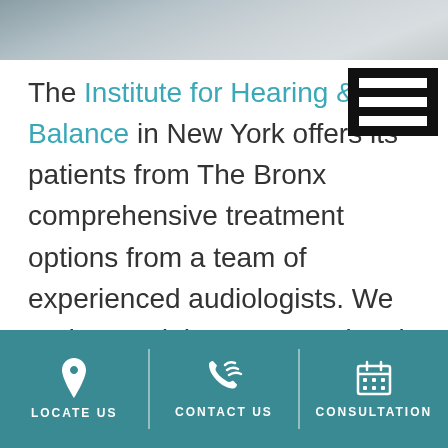[Figure (photo): Grayscale photo of a person's face/head at the top of the page]
The Institute for Hearing & Balance in New York offers its patients from The Bronx comprehensive treatment options from a team of experienced audiologists. We understand that every patient is different, and we strive to give sufficient time and attention to understand your specific needs, lifestyle, and goals. This allows our team to offer you a
LOCATE US   CONTACT US   CONSULTATION